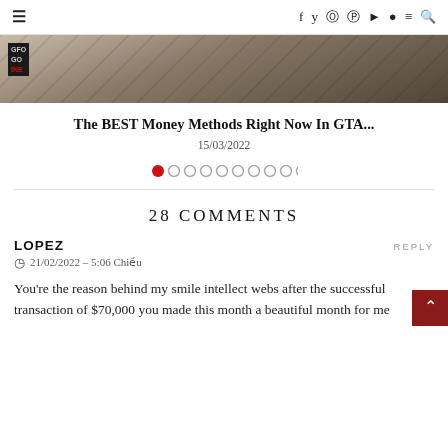☰  f  𝕏  𝕀  𝕡  ▶  👻  ≡  🔍
[Figure (screenshot): Hero image of GTA Online scene with logo overlay showing GFO / GO / INE in red]
The BEST Money Methods Right Now In GTA...
15/03/2022
[Figure (infographic): Carousel dot indicators: 1 red filled dot followed by 9 empty circle dots]
28 COMMENTS
LOPEZ
21/02/2022 – 5:06 Chiều
You're the reason behind my smile intellect webs after the successful transaction of $70,000 you made this month a beautiful month for me